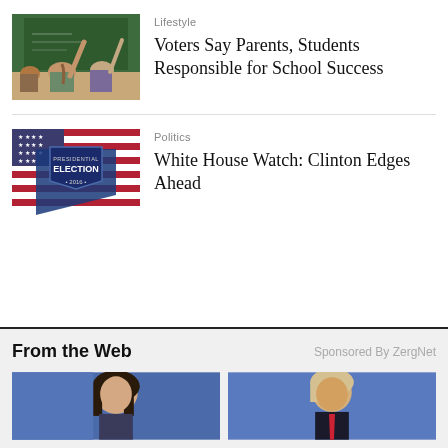[Figure (photo): Students in classroom with raised hands, viewed from behind, green chalkboard in background]
Lifestyle
Voters Say Parents, Students Responsible for School Success
[Figure (photo): Presidential Election 2016 graphic with American flag background and shield badge]
Politics
White House Watch: Clinton Edges Ahead
From the Web
Sponsored By ZergNet
[Figure (photo): Woman with dark hair against blue background]
[Figure (photo): Person with light hair against blue background]